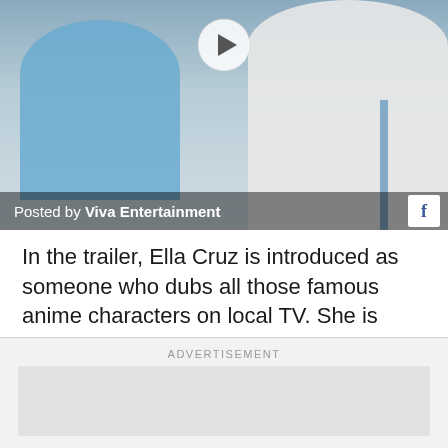[Figure (photo): A screenshot/embedded video still showing people, with a play button overlay. Caption reads 'Posted by Viva Entertainment' with a Facebook icon.]
In the trailer, Ella Cruz is introduced as someone who dubs all those famous anime characters on local TV. She is stopped by the network's security guard because she forgot her ID, leading her to give him a sample of her voice talent (which, I thought, was actually cool).
ADVERTISEMENT